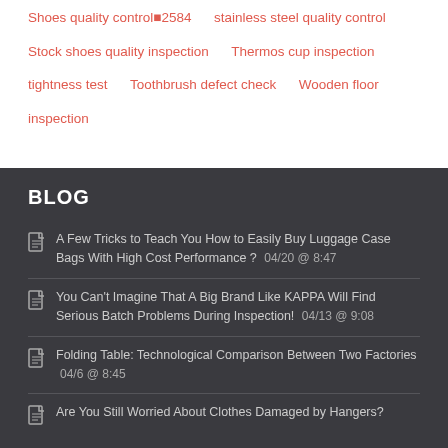Shoes quality control■2584
stainless steel quality control
Stock shoes quality inspection
Thermos cup inspection
tightness test
Toothbrush defect check
Wooden floor inspection
BLOG
A Few Tricks to Teach You How to Easily Buy Luggage Case Bags With High Cost Performance ? 04/20 @ 8:47
You Can't Imagine That A Big Brand Like KAPPA Will Find Serious Batch Problems During Inspection! 04/13 @ 9:08
Folding Table: Technological Comparison Between Two Factories 04/6 @ 8:45
Are You Still Worried About Clothes Damaged by Hangers?